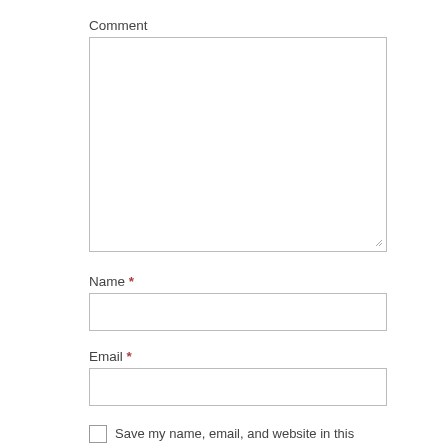Comment
[Figure (other): Large empty textarea for comment input with resize handle at bottom-right]
Name *
[Figure (other): Single-line text input box for Name]
Email *
[Figure (other): Single-line text input box for Email]
Save my name, email, and website in this